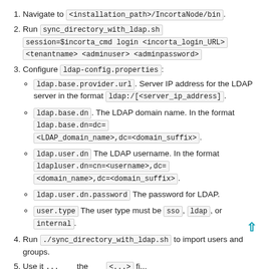Navigate to <installation_path>/IncortaNode/bin.
Run sync_directory_with_ldap.sh session=$incorta_cmd login <incorta_login_URL> <tenantname> <adminuser> <adminpassword>
Configure ldap-config.properties:
ldap.base.provider.url. Server IP address for the LDAP server in the format ldap:/[<server_ip_address].
ldap.base.dn. The LDAP domain name. In the format ldap.base.dn=dc=<LDAP_domain_name>,dc=<domain_suffix>.
ldap.user.dn The LDAP username. In the format ldapluser.dn=cn=<username>,dc=<domain_name>,dc=<domain_suffix>.
ldap.user.dn.password The password for LDAP.
user.type The user type must be sso, ldap, or internal.
Run ./sync_directory_with_ldap.sh to import users and groups.
5. Use it...